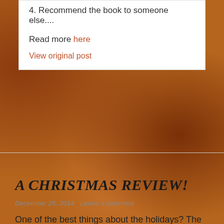4. Recommend the book to someone else....
Read more here
View original post
A CHRISTMAS REVIEW!
December 28, 2014   Leave a comment
One of the best things about the holidays? The chance to read without that guilty 'you should be marking' sensation! This is a review I've just written for a great new series: